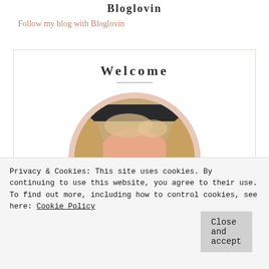Bloglovin
Follow my blog with Bloglovin
Welcome
[Figure (photo): Circular profile photo of a person with blonde hair, partially cropped, set against a peach/cream circular background within a white card.]
Privacy & Cookies: This site uses cookies. By continuing to use this website, you agree to their use.
To find out more, including how to control cookies, see here: Cookie Policy
Close and accept